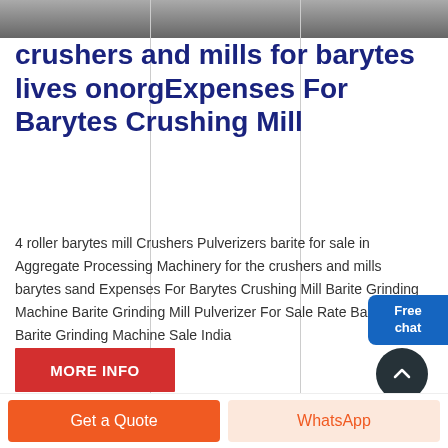[Figure (photo): Top strip showing industrial machinery (crushers/mills) in grayscale]
crushers and mills for barytes lives onorgExpenses For Barytes Crushing Mill
4 roller barytes mill Crushers Pulverizers barite for sale in Aggregate Processing Machinery for the crushers and mills barytes sand Expenses For Barytes Crushing Mill Barite Grinding Machine Barite Grinding Mill Pulverizer For Sale Rate Barite Barite Grinding Machine Sale India
MORE INFO
Free chat
Get a Quote
WhatsApp